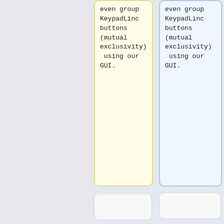even group KeypadLinc buttons (mutual exclusivity) using our GUI.
even group KeypadLinc buttons (mutual exclusivity) using our GUI.
=== Is the ISY compatible with J2ME; what do I need to access my ISY? ===
=== Is the ISY compatible with J2ME; what do I need to access my ISY? ===